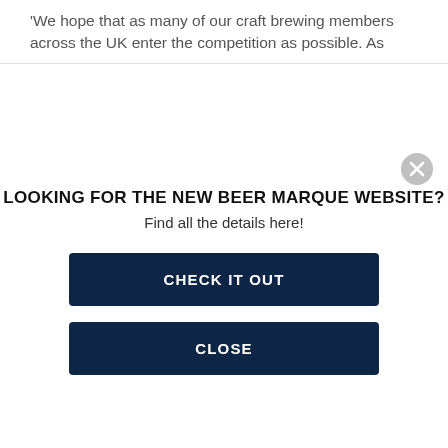'We hope that as many of our craft brewing members across the UK enter the competition as possible. As
[Figure (other): Close (X) button circle icon in the upper right area]
LOOKING FOR THE NEW BEER MARQUE WEBSITE?
Find all the details here!
CHECK IT OUT
CLOSE